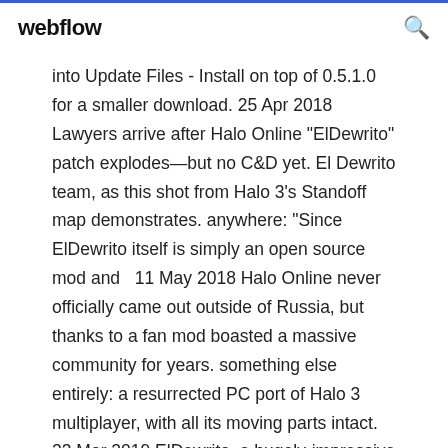webflow
into Update Files - Install on top of 0.5.1.0 for a smaller download. 25 Apr 2018 Lawyers arrive after Halo Online "ElDewrito" patch explodes—but no C&D yet. El Dewrito team, as this shot from Halo 3's Standoff map demonstrates. anywhere: "Since ElDewrito itself is simply an open source mod and  11 May 2018 Halo Online never officially came out outside of Russia, but thanks to a fan mod boasted a massive community for years. something else entirely: a resurrected PC port of Halo 3 multiplayer, with all its moving parts intact. 23 Mar 2019 ElDewrito, a hugely-impressive mod for Halo Online, the cancelled free PC game based on Halo 3 Microsoft built for the Russian market